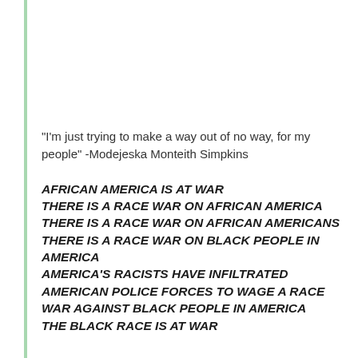"I'm just trying to make a way out of no way, for my people" -Modejeska Monteith Simpkins
AFRICAN AMERICA IS AT WAR
THERE IS A RACE WAR ON AFRICAN AMERICA
THERE IS A RACE WAR ON AFRICAN AMERICANS
THERE IS A RACE WAR ON BLACK PEOPLE IN AMERICA
AMERICA'S RACISTS HAVE INFILTRATED AMERICAN POLICE FORCES TO WAGE A RACE WAR AGAINST BLACK PEOPLE IN AMERICA
THE BLACK RACE IS AT WAR